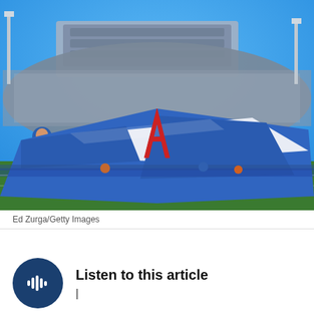[Figure (photo): Fisheye wide-angle photo of a large blue and white flag with a red letter A being spread across a football field by many people, with a packed stadium in the background under a clear blue sky.]
Ed Zurga/Getty Images
Listen to this article